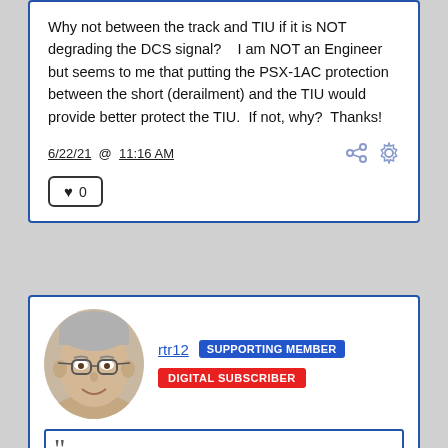Why not between the track and TIU if it is NOT degrading the DCS signal?    I am NOT an Engineer but seems to me that putting the PSX-1AC protection between the short (derailment) and the TIU would provide better protect the TIU.  If not, why?  Thanks!
6/22/21  @  11:16 AM
♥  0
rtr12  SUPPORTING MEMBER
DIGITAL SUBSCRIBER
[Figure (photo): Profile photo of user rtr12: an older man with gray hair and glasses, smiling]